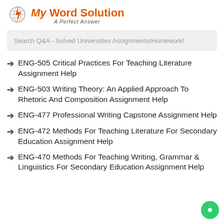[Figure (logo): My Word Solution logo with orange lightning bolt icon and tagline 'A Perfect Answer']
Search Q&A - Solved Universities Assignments/Homework!
ENG-505 Critical Practices For Teaching Literature Assignment Help
ENG-503 Writing Theory: An Applied Approach To Rhetoric And Composition Assignment Help
ENG-477 Professional Writing Capstone Assignment Help
ENG-472 Methods For Teaching Literature For Secondary Education Assignment Help
ENG-470 Methods For Teaching Writing, Grammar & Linguistics For Secondary Education Assignment Help